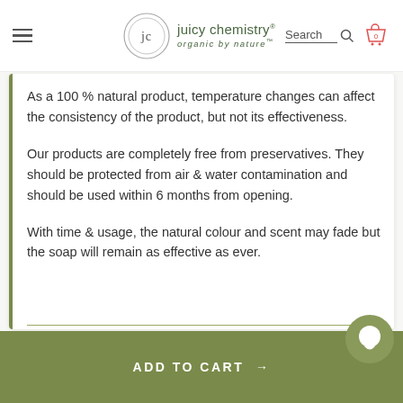[Figure (logo): Juicy Chemistry logo with circular jc monogram and tagline 'organic by nature']
As a 100 % natural product, temperature changes can affect the consistency of the product, but not its effectiveness.
Our products are completely free from preservatives. They should be protected from air & water contamination and should be used within 6 months from opening.
With time & usage, the natural colour and scent may fade but the soap will remain as effective as ever.
ADD TO CART →